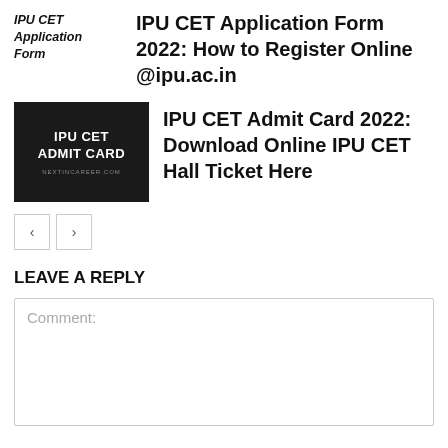[Figure (illustration): Text thumbnail reading 'IPU CET Application Form' in bold italic]
IPU CET Application Form 2022: How to Register Online @ipu.ac.in
[Figure (illustration): Dark thumbnail image with white bold text 'IPU CET ADMIT CARD' and small text 'NEXTINCAREER.COM' below]
IPU CET Admit Card 2022: Download Online IPU CET Hall Ticket Here
[Figure (other): Previous and Next navigation buttons (< and >)]
LEAVE A REPLY
Comment: